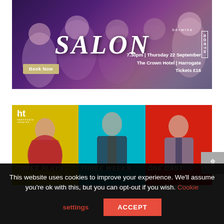[Figure (photo): Berwins Salon North advertisement banner. Audience members in background, large italic text 'SALON', branding 'berwins' and 'NORTH'. Details: 7.30pm | Thursday 22 September, The Crown Hotel | Harrogate, Tickets £16. Book Now button.]
[Figure (photo): Harrogate Theatre advertisement. Three panels: yellow (woman in red dress), teal (man in suit with moustache), red (man in blue shirt with tie). Text: THREE PLAYS, THREE WEEKS, ONE CAST. TUE 13 SEP – SAT 1 OCT.]
This website uses cookies to improve your experience. We'll assume you're ok with this, but you can opt-out if you wish. Cookie settings ACCEPT